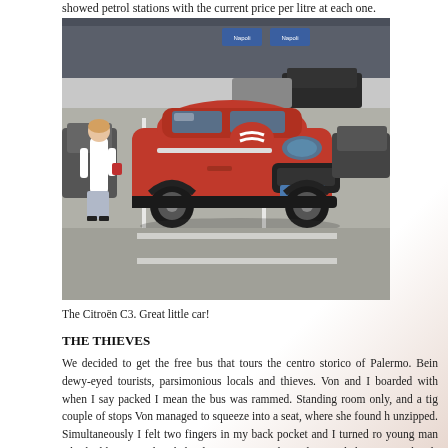showed petrol stations with the current price per litre at each one.
[Figure (photo): A red Citroën C3 compact SUV parked in a car park, with a woman in white standing to the left. Airport or shopping area in the background.]
The Citroën C3. Great little car!
THE THIEVES
We decided to get the free bus that tours the centro storico of Palermo. Bein dewy-eyed tourists, parsimonious locals and thieves. Von and I boarded with when I say packed I mean the bus was rammed. Standing room only, and a tig couple of stops Von managed to squeeze into a seat, where she found h unzipped. Simultaneously I felt two fingers in my back pocket and I turned ro young man who had been standing behind me. "Hey!" I shouted in English. "W your hands in my pocket?" I checked my 20 euro note. It was still there. "You